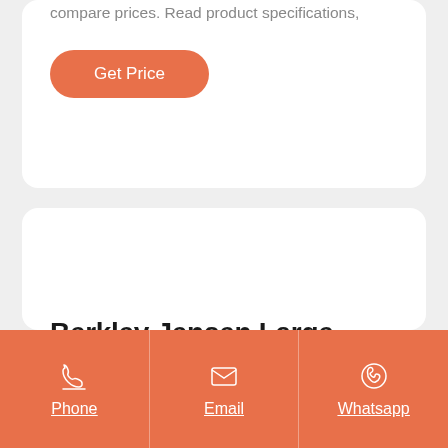compare prices. Read product specifications,
Get Price
Berkley Jensen Large Maximum Absorbency...
Buy Berkley Jensen Large Maximum Absorbency Protective Underwear For Women, 72 Count
Phone | Email | Whatsapp